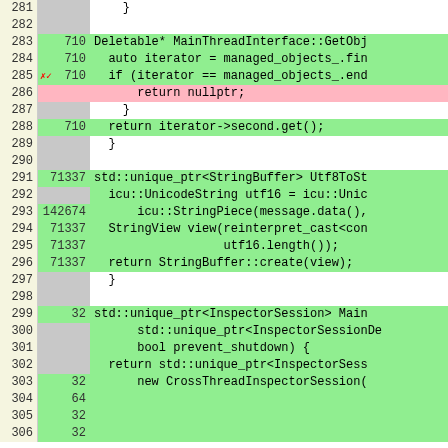[Figure (screenshot): Code coverage view showing C++ source lines 281-306 with line numbers, hit counts, and color-coded coverage highlighting (green=covered, pink=not covered, gray=not instrumented). Contains code for MainThreadInterface::GetObject(), Utf8ToStringBuffer(), and MainThreadInterface::InspectorSession methods.]